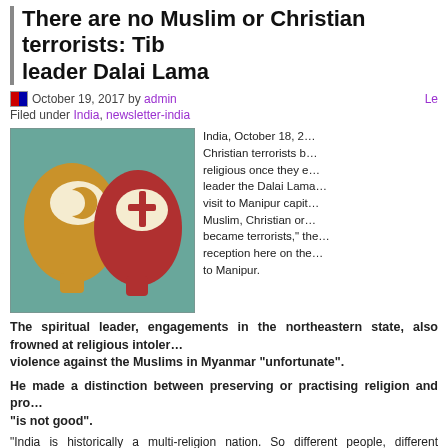There are no Muslim or Christian terrorists: Tibetan leader Dalai Lama
October 19, 2017 by admin   Le
Filed under India, newsletter-india
[Figure (illustration): Two stylized human head silhouettes facing each other. Left head is golden/yellow with a crescent-and-star symbol (Islam) in the brain area. Right head is red with a Christian cross symbol in the brain area. Background is teal/turquoise with a vintage texture.]
India, October 18, 2... Christian terrorists b... religious once they e... leader the Dalai Lama... visit to Manipur capit... Muslim, Christian or... became terrorists," the... reception here on the... to Manipur.
The spiritual leader, engagements in the northeastern state, also frowned at religious intoler... violence against the Muslims in Myanmar “unfortunate”.
He made a distinction between preserving or practising religion and pro... “is not good”.
“India is historically a multi-religion nation. So different people, different commu... they must preserve that. But no one religious group has the right to convert o...